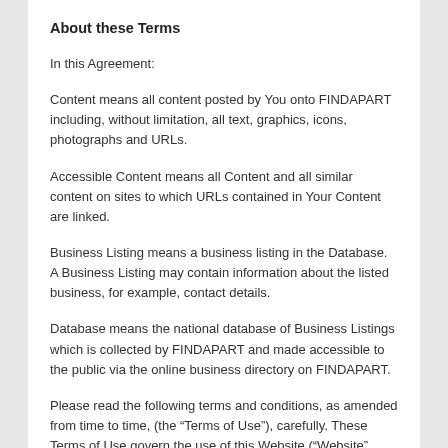About these Terms
In this Agreement:
Content means all content posted by You onto FINDAPART including, without limitation, all text, graphics, icons, photographs and URLs.
Accessible Content means all Content and all similar content on sites to which URLs contained in Your Content are linked.
Business Listing means a business listing in the Database. A Business Listing may contain information about the listed business, for example, contact details.
Database means the national database of Business Listings which is collected by FINDAPART and made accessible to the public via the online business directory on FINDAPART.
Please read the following terms and conditions, as amended from time to time, (the “Terms of Use”), carefully. These Terms of Use govern the use of this Website (“Website” means the